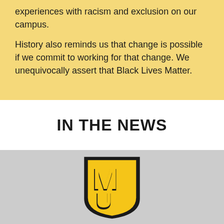experiences with racism and exclusion on our campus.

History also reminds us that change is possible if we commit to working for that change. We unequivocally assert that Black Lives Matter.
IN THE NEWS
[Figure (logo): University of Missouri (Mizzou) MU shield logo — black shield shape with gold M and U letters interlocked, on a light gray background]